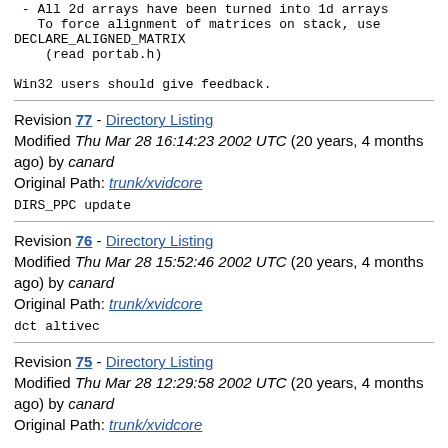- All 2d arrays have been turned into 1d arrays
   To force alignment of matrices on stack, use
DECLARE_ALIGNED_MATRIX
    (read portab.h)

Win32 users should give feedback.
Revision 77 - Directory Listing
Modified Thu Mar 28 16:14:23 2002 UTC (20 years, 4 months ago) by canard
Original Path: trunk/xvidcore
DIRS_PPC update
Revision 76 - Directory Listing
Modified Thu Mar 28 15:52:46 2002 UTC (20 years, 4 months ago) by canard
Original Path: trunk/xvidcore
dct altivec
Revision 75 - Directory Listing
Modified Thu Mar 28 12:29:58 2002 UTC (20 years, 4 months ago) by canard
Original Path: trunk/xvidcore